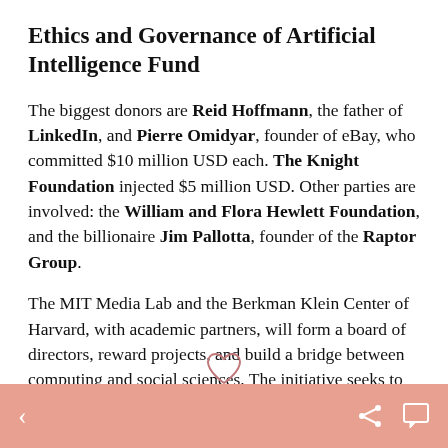Ethics and Governance of Artificial Intelligence Fund
The biggest donors are Reid Hoffmann, the father of LinkedIn, and Pierre Omidyar, founder of eBay, who committed $10 million USD each. The Knight Foundation injected $5 million USD. Other parties are involved: the William and Flora Hewlett Foundation, and the billionaire Jim Pallotta, founder of the Raptor Group.
The MIT Media Lab and the Berkman Klein Center of Harvard, with academic partners, will form a board of directors, reward projects, and build a bridge between computing and social sciences. The initiative seeks to open up discussions on the human impacts of AI to different actors. Among the issues that are of interest to the initiative, complex communication, ethical
< share comment